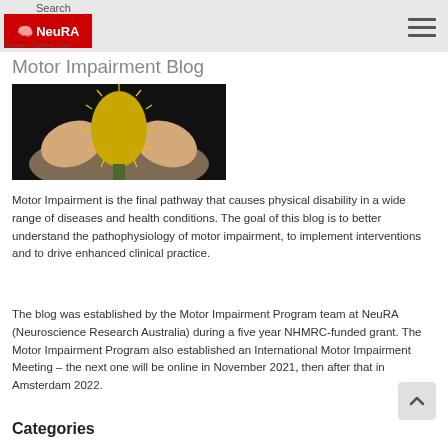Search | NeuRA | Discover. Connect. Care.
Motor Impairment Blog
[Figure (photo): Two hands holding a yellow banksia flower against a dark background]
Motor Impairment is the final pathway that causes physical disability in a wide range of diseases and health conditions. The goal of this blog is to better understand the pathophysiology of motor impairment, to implement interventions and to drive enhanced clinical practice.
The blog was established by the Motor Impairment Program team at NeuRA (Neuroscience Research Australia) during a five year NHMRC-funded grant. The Motor Impairment Program also established an International Motor Impairment Meeting – the next one will be online in November 2021, then after that in Amsterdam 2022.
Categories